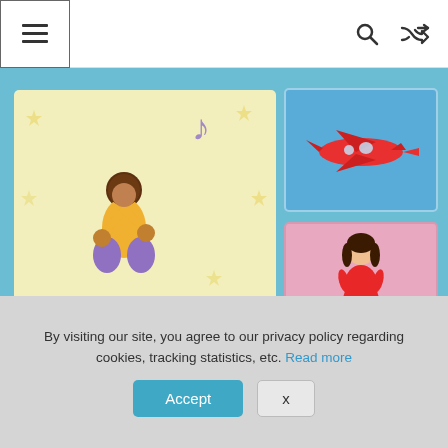[Figure (screenshot): Navigation bar with hamburger menu icon on left, search and shuffle icons on right]
[Figure (illustration): YouTube-style video player interface showing animated child with music note on yellow background, with airplane thumbnail on blue background and doll thumbnail on pink background, with playback controls below]
YouTube is a super resource. You can create playlists of Greek teaching videos, these days people post from all over the world. They might be short tutorials, or craft ideas you can
By visiting our site, you agree to our privacy policy regarding cookies, tracking statistics, etc. Read more